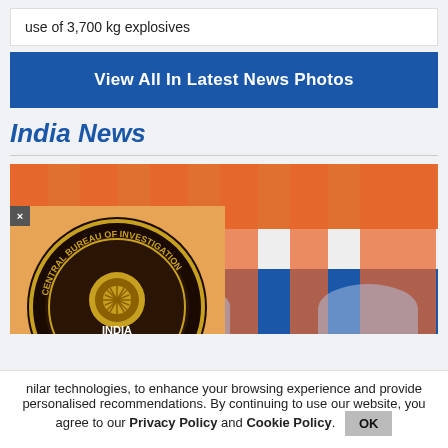use of 3,700 kg explosives
[Figure (other): Blue button: View All In Latest News Photos]
India News
[Figure (photo): Photo of a person in front of Indian flags (saffron, white, blue stripes), with a CBI (Central Bureau of Investigation) logo overlay and a close button (x)]
nilar technologies, to enhance your browsing experience and provide personalised recommendations. By continuing to use our website, you agree to our Privacy Policy and Cookie Policy.